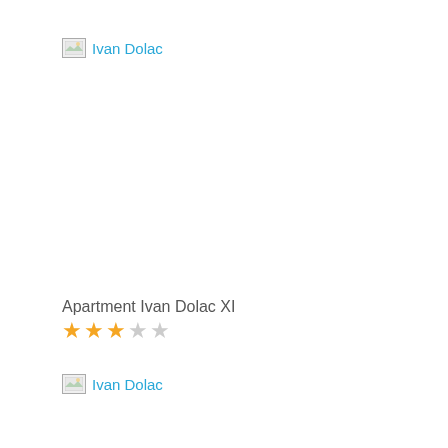[Figure (other): Broken image placeholder with link text 'Ivan Dolac']
Apartment Ivan Dolac XI
[Figure (other): 3 out of 5 star rating]
[Figure (other): Broken image placeholder with link text 'Ivan Dolac']
Apartment Ivan Dolac wit
[Figure (other): 3 out of 5 star rating]
[Figure (other): Broken image placeholder with link text 'Ivan Dolac']